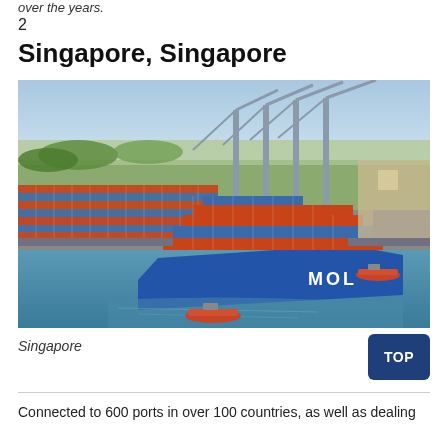over the years.
2
Singapore, Singapore
[Figure (photo): Aerial photograph of a large MOL container ship being guided by tugboats into a port terminal with rows of shipping containers and large cranes visible.]
Singapore
Connected to 600 ports in over 100 countries, as well as dealing